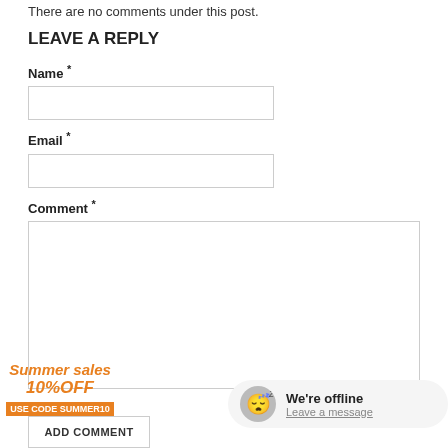There are no comments under this post.
LEAVE A REPLY
Name *
Email *
Comment *
Summer sales 10%OFF USE CODE SUMMER10
ADD COMMENT
We're offline Leave a message